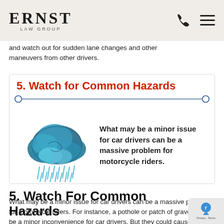ERNST LAW GROUP
and watch out for sudden lane changes and other maneuvers from other drivers.
[Figure (infographic): Infographic box with red bold heading '5. Watch for Common Hazards', a decorative divider line with circles at each end, a stylized storm cloud illustration on the left, and bold text on the right reading: 'What may be a minor issue for car drivers can be a massive problem for motorcycle riders.']
5. Watch For Common Hazards
What may be a minor issue for car drivers can be a massive problem for motorcycle riders. For instance, a pothole or patch of gravel could be a minor inconvenience for car drivers. But they could cause a serious accident for bikers. If you can't avoid road hazards, do your best to slow down and use minimal steering input to navigate.